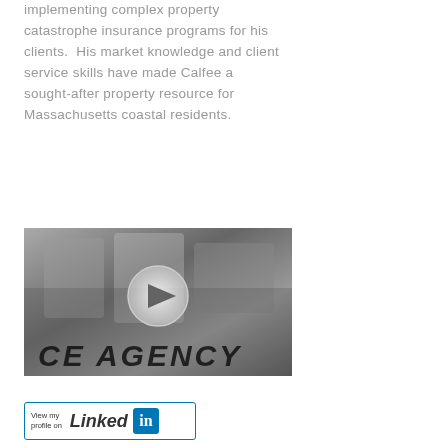implementing complex property catastrophe insurance programs for his clients.  His market knowledge and client service skills have made Calfee a sought-after property resource for Massachusetts coastal residents.
[Figure (photo): Black and white photo of metallic 3D letters spelling 'AGENCY' with a circular play button overlay in the center, suggesting a video thumbnail.]
[Figure (logo): LinkedIn 'View my profile on Linked in' badge with blue border and LinkedIn logo icon.]